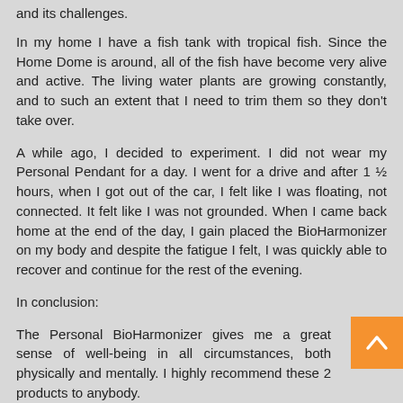and its challenges.
In my home I have a fish tank with tropical fish. Since the Home Dome is around, all of the fish have become very alive and active. The living water plants are growing constantly, and to such an extent that I need to trim them so they don't take over.
A while ago, I decided to experiment. I did not wear my Personal Pendant for a day. I went for a drive and after 1 ½ hours, when I got out of the car, I felt like I was floating, not connected. It felt like I was not grounded. When I came back home at the end of the day, I gain placed the BioHarmonizer on my body and despite the fatigue I felt, I was quickly able to recover and continue for the rest of the evening.
In conclusion:
The Personal BioHarmonizer gives me a great sense of well-being in all circumstances, both physically and mentally. I highly recommend these 2 products to anybody.
Thank you for reading my testimonial.